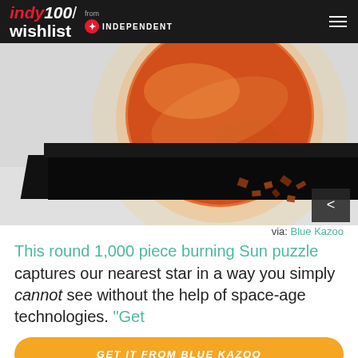indy100/ wishlist from INDEPENDENT
[Figure (photo): Product photo of a round burning Sun jigsaw puzzle box with puzzle pieces scattered nearby on a light grey background. The puzzle box is black with an illuminated orange/red sun image on the front.]
via: Blue Kazoo
This round 1,000 piece burning Sun puzzle
captures our nearest star in a way you simply cannot see without the help of space-age technologies. "Get
GET IT FROM BLUE KAZOO